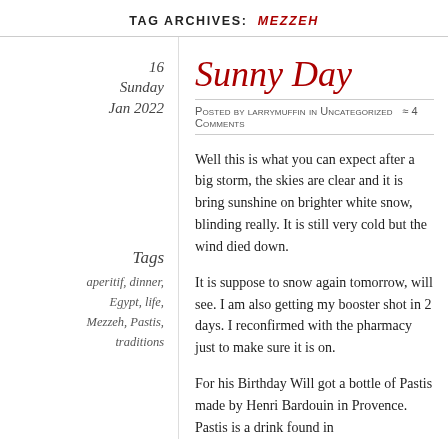TAG ARCHIVES: MEZZEH
16
Sunday
Jan 2022
Sunny Day
Posted by larrymuffin in Uncategorized ≈ 4 Comments
Tags
aperitif, dinner, Egypt, life, Mezzeh, Pastis, traditions
Well this is what you can expect after a big storm, the skies are clear and it is bring sunshine on brighter white snow, blinding really. It is still very cold but the wind died down.
It is suppose to snow again tomorrow, will see. I am also getting my booster shot in 2 days. I reconfirmed with the pharmacy just to make sure it is on.
For his Birthday Will got a bottle of Pastis made by Henri Bardouin in Provence. Pastis is a drink found in